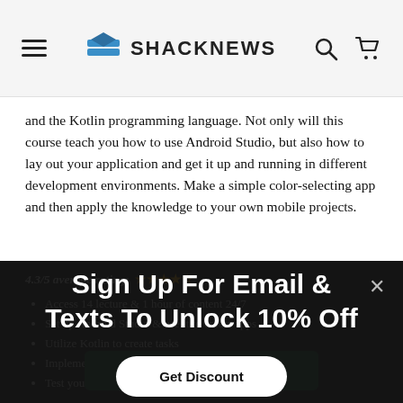ShackNews
and the Kotlin programming language. Not only will this course teach you how to use Android Studio, but also how to lay out your application and get it up and running in different development environments. Make a simple color-selecting app and then apply the knowledge to your own mobile projects.
4.3/5 average rating: ★★★★☆
Access 14 lecture & 1 hour of content 24/7
Set up Android Studio & use it to create apps
Utilize Kotlin to create tasks
Implement features & create layouts
Test your application on a device & with an emulator
Sign Up For Email & Texts To Unlock 10% Off
Get Discount
ADD TO CART ($29)